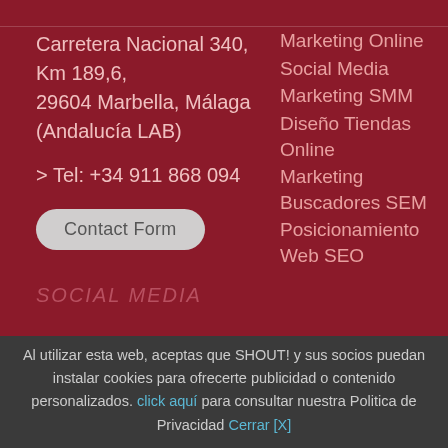Carretera Nacional 340, Km 189,6, 29604 Marbella, Málaga (Andalucía LAB)
> Tel: +34 911 868 094
Contact Form
Marketing Online
Social Media
Marketing SMM
Diseño Tiendas Online
Marketing Buscadores SEM
Posicionamiento Web SEO
SOCIAL MEDIA
Al utilizar esta web, aceptas que SHOUT! y sus socios puedan instalar cookies para ofrecerte publicidad o contenido personalizados. click aquí para consultar nuestra Politica de Privacidad Cerrar [X]